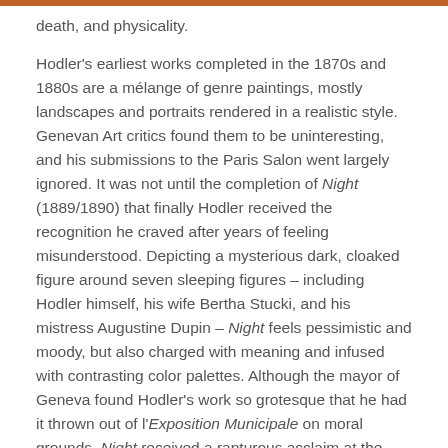death, and physicality.
Hodler's earliest works completed in the 1870s and 1880s are a mélange of genre paintings, mostly landscapes and portraits rendered in a realistic style. Genevan Art critics found them to be uninteresting, and his submissions to the Paris Salon went largely ignored. It was not until the completion of Night (1889/1890) that finally Hodler received the recognition he craved after years of feeling misunderstood. Depicting a mysterious dark, cloaked figure around seven sleeping figures – including Hodler himself, his wife Bertha Stucki, and his mistress Augustine Dupin – Night feels pessimistic and moody, but also charged with meaning and infused with contrasting color palettes. Although the mayor of Geneva found Hodler's work so grotesque that he had it thrown out of l'Exposition Municipale on moral grounds, Night received a rapturous acclaim at the Salon du Champ-de-Mars in Paris. Hodler even received personal compliments from the leading French artists of the era, including Auguste Rodin, Edgar Degas, and Puvis de Chavannes. Night marked Hodler's